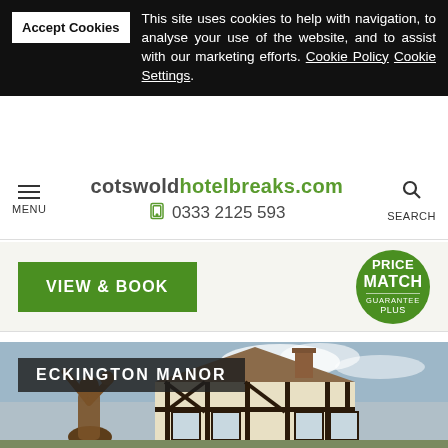Accept Cookies  This site uses cookies to help with navigation, to analyse your use of the website, and to assist with our marketing efforts. Cookie Policy Cookie Settings.
cotswoldhotelbreaks.com  0333 2125 593  MENU  SEARCH
VIEW & BOOK
PRICE MATCH GUARANTEE PLUS
[Figure (photo): Exterior of Eckington Manor: a Tudor-style half-timbered building with a bronze sculpture of a figure in the foreground, under a partly cloudy sky.]
ECKINGTON MANOR